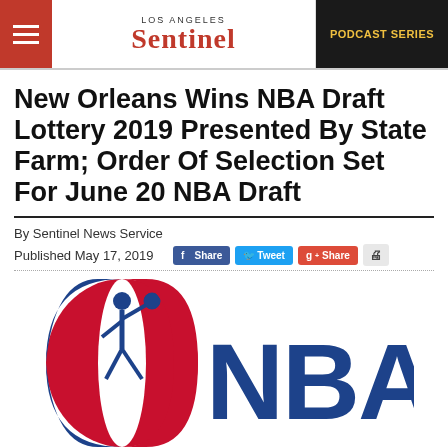Los Angeles Sentinel | PODCAST SERIES
New Orleans Wins NBA Draft Lottery 2019 Presented By State Farm; Order Of Selection Set For June 20 NBA Draft
By Sentinel News Service
Published May 17, 2019
[Figure (logo): NBA logo with basketball player silhouette and NBA lettering in red, white and blue]